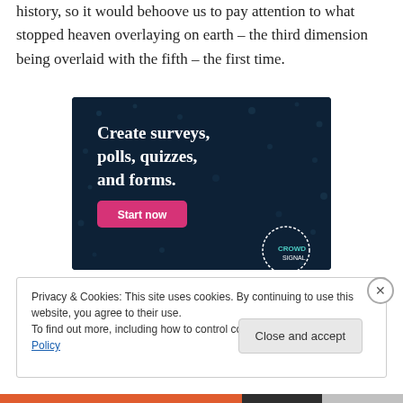history, so it would behoove us to pay attention to what stopped heaven overlaying on earth – the third dimension being overlaid with the fifth – the first time.
[Figure (advertisement): Dark navy blue advertisement banner reading 'Create surveys, polls, quizzes, and forms.' with a pink 'Start now' button and a CrowdSignal logo in the bottom right corner.]
Privacy & Cookies: This site uses cookies. By continuing to use this website, you agree to their use.
To find out more, including how to control cookies, see here: Cookie Policy
Close and accept